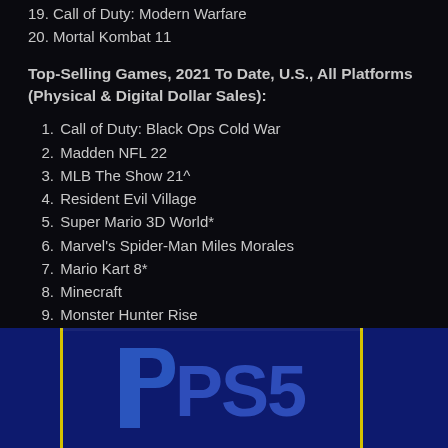19. Call of Duty: Modern Warfare
20. Mortal Kombat 11
Top-Selling Games, 2021 To Date, U.S., All Platforms (Physical & Digital Dollar Sales):
1. Call of Duty: Black Ops Cold War
2. Madden NFL 22
3. MLB The Show 21^
4. Resident Evil Village
5. Super Mario 3D World*
6. Marvel's Spider-Man Miles Morales
7. Mario Kart 8*
8. Minecraft
9. Monster Hunter Rise
10. Assassin's Creed Valhalla
[Figure (logo): PlayStation 5 (PS5) logo on a dark blue background with yellow vertical lines dividing sections]